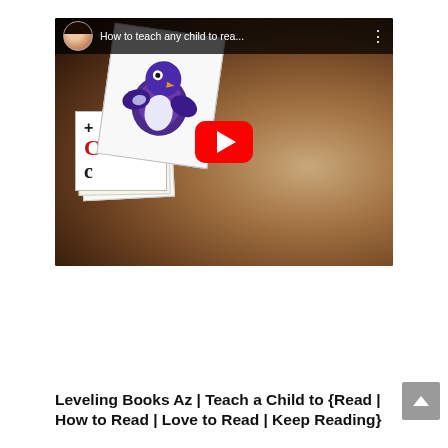[Figure (screenshot): YouTube video thumbnail showing a child learning to read with flashcards. Title bar reads 'How to teach any child to rea...' with a female presenter avatar. A red YouTube play button is centered on the video.]
Leveling Books Az | Teach a Child to {Read | How to Read | Love to Read | Keep Reading}